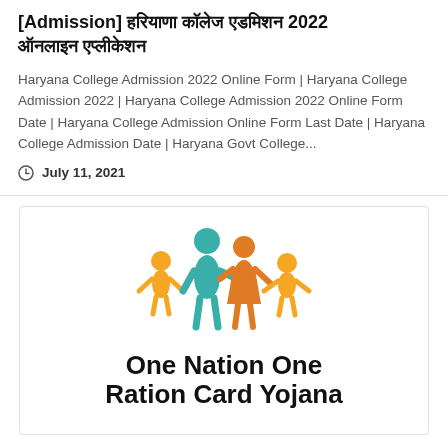[Admission] हरियाणा कॉलेज एडमिशन 2022 ऑनलाइन एप्लीकेशन
Haryana College Admission 2022 Online Form | Haryana College Admission 2022 | Haryana College Admission 2022 Online Form Date | Haryana College Admission Online Form Last Date | Haryana College Admission Date | Haryana Govt College...
July 11, 2021
[Figure (illustration): One Nation One Ration Card Yojana logo with a family of four (teal adult male, orange adult female, two yellow children) holding hands above the text 'One Nation One Ration Card Yoiana']